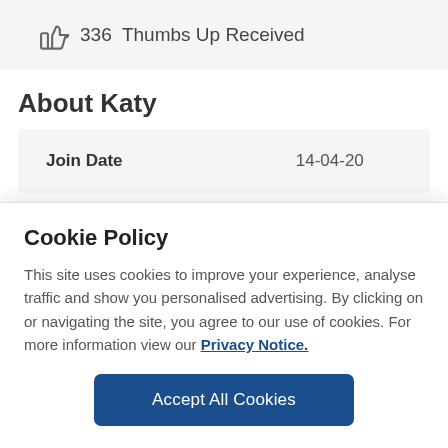[Figure (illustration): Thumbs up icon with text '336 Thumbs Up Received']
About Katy
| Join Date | 14-04-20 |
| --- | --- |
Cookie Policy
This site uses cookies to improve your experience, analyse traffic and show you personalised advertising. By clicking on or navigating the site, you agree to our use of cookies. For more information view our Privacy Notice.
Accept All Cookies